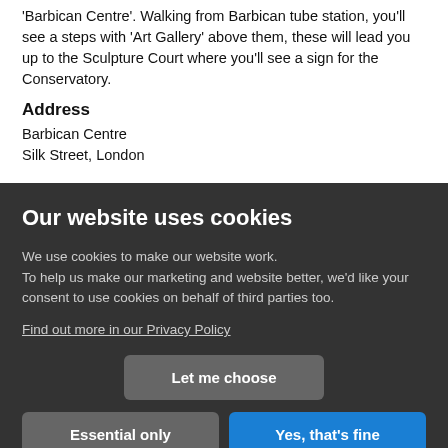'Barbican Centre'. Walking from Barbican tube station, you'll see a steps with 'Art Gallery' above them, these will lead you up to the Sculpture Court where you'll see a sign for the Conservatory.
Address
Barbican Centre
Silk Street, London
Our website uses cookies
We use cookies to make our website work.
To help us make our marketing and website better, we'd like your consent to use cookies on behalf of third parties too.
Find out more in our Privacy Policy
Let me choose
Essential only
Yes, that's fine